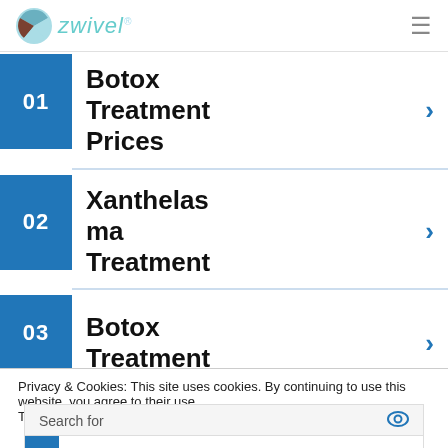zwivel
01 Botox Treatment Prices
02 Xanthelasma Treatment
03 Botox Treatment
Privacy & Cookies: This site uses cookies. By continuing to use this website, you agree to their use. To find out more, including how to control cookies, see here: Cookie
1 Botox Injections Cost
2 Botox Treatment for Face